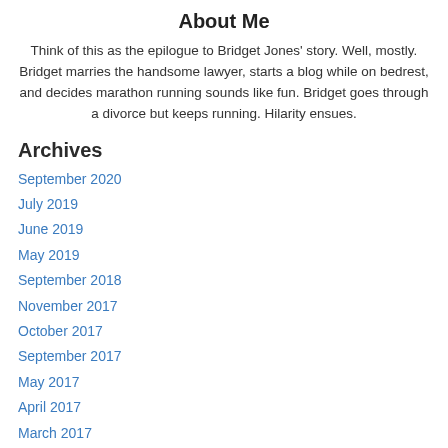About Me
Think of this as the epilogue to Bridget Jones' story. Well, mostly. Bridget marries the handsome lawyer, starts a blog while on bedrest, and decides marathon running sounds like fun. Bridget goes through a divorce but keeps running. Hilarity ensues.
Archives
September 2020
July 2019
June 2019
May 2019
September 2018
November 2017
October 2017
September 2017
May 2017
April 2017
March 2017
February 2017
January 2017